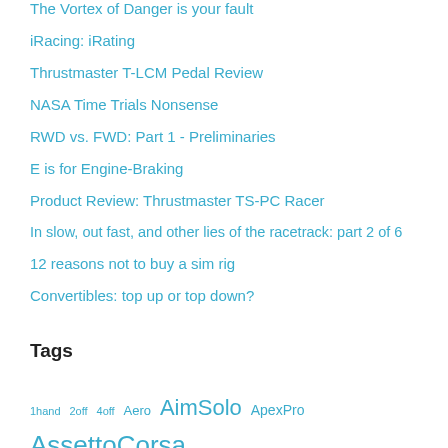The Vortex of Danger is your fault
iRacing: iRating
Thrustmaster T-LCM Pedal Review
NASA Time Trials Nonsense
RWD vs. FWD: Part 1 - Preliminaries
E is for Engine-Braking
Product Review: Thrustmaster TS-PC Racer
In slow, out fast, and other lies of the racetrack: part 2 of 6
12 reasons not to buy a sim rig
Convertibles: top up or top down?
Tags
1hand 2off 4off Aero AimSolo ApexPro AssettoCorsa